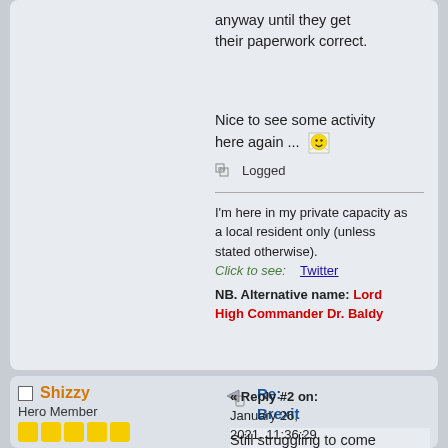anyway until they get their paperwork correct.
Nice to see some activity here again ...
Logged
I'm here in my private capacity as a local resident only (unless stated otherwise).
Click to see:    Twitter
NB. Alternative name: Lord High Commander Dr. Baldy
Shizzy
Hero Member
Re: Brexit 2021
« Reply #2 on: January 26, 2021, 11:36:29 am »
Still struggling to come